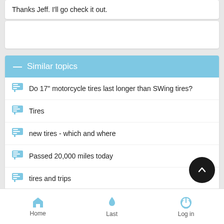Thanks Jeff. I"ll go check it out.
Similar topics
Do 17" motorcycle tires last longer than SWing tires?
Tires
new tires - which and where
Passed 20,000 miles today
tires and trips
Home  Last  Log in